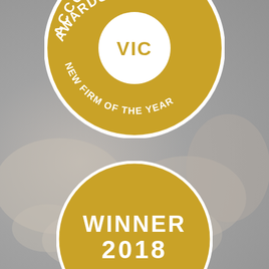[Figure (logo): Two gold award badges. Top badge: circular gold badge with white border reading 'ACCOUNTING AWARDS 2018' at top, a white semicircle with 'VIC' in gold text, and 'NEW FIRM OF THE YEAR' curved along the bottom in white text. Bottom badge: circular gold badge partially visible reading 'WINNER 2018' in large white bold text.]